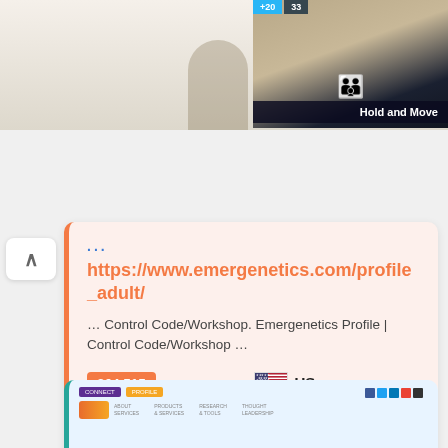[Figure (screenshot): Top banner area with partial image showing trees and dark gaming overlay with 'Hold and Move' text and score badges +20 and 33]
...
https://www.emergenetics.com/profile_adult/
… Control Code/Workshop. Emergenetics Profile | Control Code/Workshop …
364.515 Pageviews
US Top Country
Up Site Status
11h ago Last Pinged
[Figure (screenshot): Partial screenshot of a website at the bottom of the page]